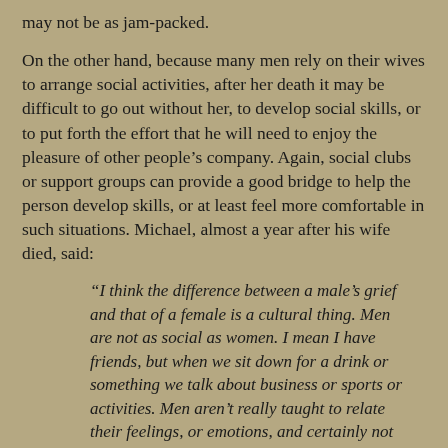may not be as jam-packed.
On the other hand, because many men rely on their wives to arrange social activities, after her death it may be difficult to go out without her, to develop social skills, or to put forth the effort that he will need to enjoy the pleasure of other people’s company. Again, social clubs or support groups can provide a good bridge to help the person develop skills, or at least feel more comfortable in such situations. Michael, almost a year after his wife died, said:
“I think the difference between a male’s grief and that of a female is a cultural thing. Men are not as social as women. I mean I have friends, but when we sit down for a drink or something we talk about business or sports or activities. Men aren’t really taught to relate their feelings, or emotions, and certainly not